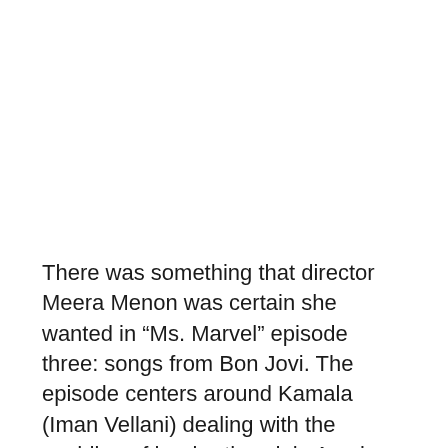There was something that director Meera Menon was certain she wanted in “Ms. Marvel” episode three: songs from Bon Jovi. The episode centers around Kamala (Iman Vellani) dealing with the wedding of her brother dela Aamir (Saagar Shaikh) to his fiancée Tyesha (Travina Springer). The event has two huge set pieces: a choreographed dance that most of the attendees lovingly perform for the newlyweds and Kamala’s